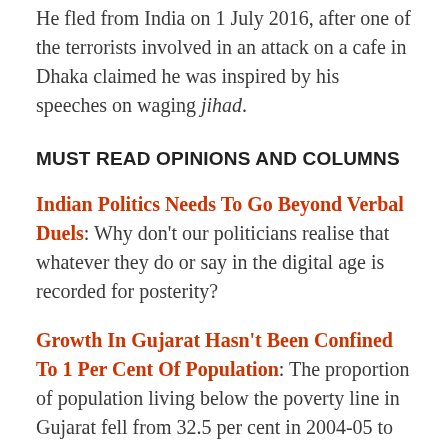He fled from India on 1 July 2016, after one of the terrorists involved in an attack on a cafe in Dhaka claimed he was inspired by his speeches on waging jihad.
MUST READ OPINIONS AND COLUMNS
Indian Politics Needs To Go Beyond Verbal Duels: Why don't our politicians realise that whatever they do or say in the digital age is recorded for posterity?
Growth In Gujarat Hasn't Been Confined To 1 Per Cent Of Population: The proportion of population living below the poverty line in Gujarat fell from 32.5 per cent in 2004-05 to 17 per cent in 2011-12. Therefore, benefits of growth in Gujarat have not